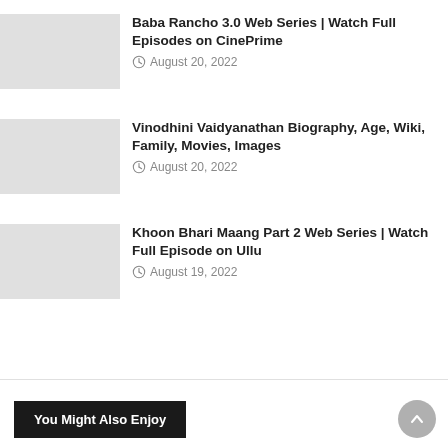Baba Rancho 3.0 Web Series | Watch Full Episodes on CinePrime
August 20, 2022
Vinodhini Vaidyanathan Biography, Age, Wiki, Family, Movies, Images
August 20, 2022
Khoon Bhari Maang Part 2 Web Series | Watch Full Episode on Ullu
August 19, 2022
You Might Also Enjoy